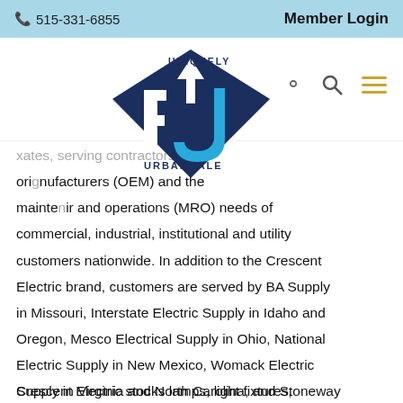📞 515-331-6855   Member Login
[Figure (logo): Uniquely Urbandale logo with dark blue diamond shape and stylized 'UJ' letters in blue, with text 'UNIQUELY' and 'URBANDALE' arched around the shape]
...states, serving contractors, original equipment manufacturers (OEM) and the maintenance, repair and operations (MRO) needs of commercial, industrial, institutional and utility customers nationwide. In addition to the Crescent Electric brand, customers are served by BA Supply in Missouri, Interstate Electric Supply in Idaho and Oregon, Mesco Electrical Supply in Ohio, National Electric Supply in New Mexico, Womack Electric Supply in Virginia and North Carolina, and Stoneway Electric in Washington and Idaho.
Crescent Electric stocks lamps, light fixtures,